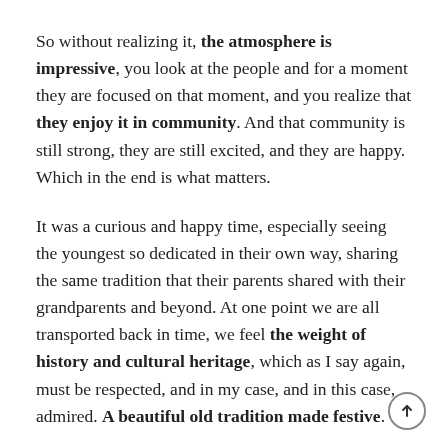So without realizing it, the atmosphere is impressive, you look at the people and for a moment they are focused on that moment, and you realize that they enjoy it in community. And that community is still strong, they are still excited, and they are happy. Which in the end is what matters.
It was a curious and happy time, especially seeing the youngest so dedicated in their own way, sharing the same tradition that their parents shared with their grandparents and beyond. At one point we are all transported back in time, we feel the weight of history and cultural heritage, which as I say again, must be respected, and in my case, and in this case, admired. A beautiful old tradition made festive.
Thanks for reading! Have a happy day.